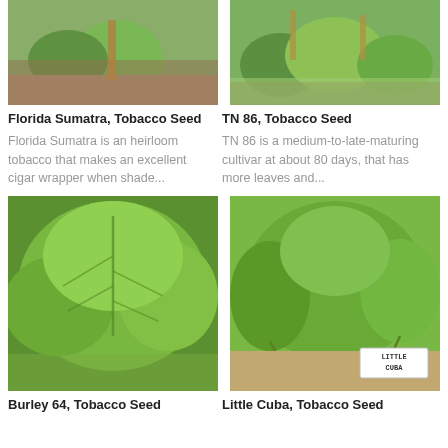[Figure (photo): Florida Sumatra tobacco plant with large leaves growing in soil with a wooden stake]
[Figure (photo): TN 86 tobacco plants growing in rows in a garden]
Florida Sumatra, Tobacco Seed
TN 86, Tobacco Seed
Florida Sumatra is an heirloom tobacco that makes an excellent cigar wrapper when shade...
TN 86 is a medium-to-late-maturing cultivar at about 80 days, that has more leaves and...
[Figure (photo): Close-up of large Burley 64 tobacco leaves, bright green]
[Figure (photo): Little Cuba tobacco plants growing in soil with a hand-written label sign reading LITTLE CUBA]
Burley 64, Tobacco Seed
Little Cuba, Tobacco Seed